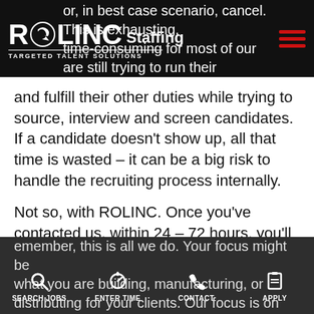ROLINC Staffing — Targeted Talent Solutions
and fulfill their other duties while trying to source, interview and screen candidates. If a candidate doesn't show up, all that time is wasted – it can be a big risk to handle the recruiting process internally.
Not so, with ROLINC. Once you've contacted us, within 24 – 72 hours, you'll receive an on-site tour with the sales/recruiting team, a competitive pricing proposal, and an assessment of how we can help with your long-term staffing needs. Once we understand your employee needs and company culture, we can begin recruiting.
SEARCH JOBS   ENTER TIME   CONTACT   APPLY